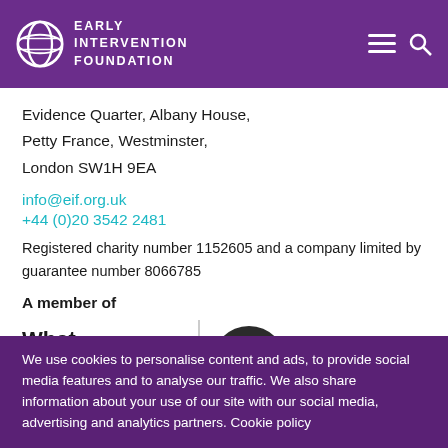Early Intervention Foundation
Evidence Quarter, Albany House,
Petty France, Westminster,
London SW1H 9EA
info@eif.org.uk
+44 (0)20 3542 2481
Registered charity number 1152605 and a company limited by guarantee number 8066785
A member of
[Figure (logo): What Works Network logo and Cyber Essentials Certified badge]
We use cookies to personalise content and ads, to provide social media features and to analyse our traffic. We also share information about your use of our site with our social media, advertising and analytics partners. Cookie policy